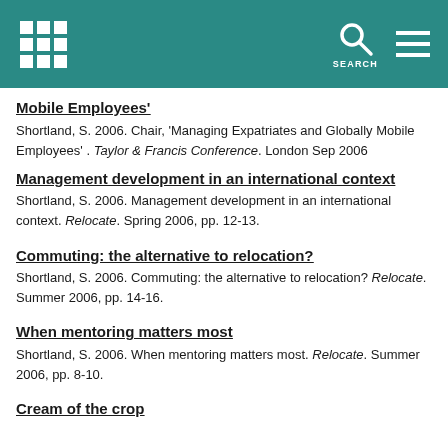SEARCH
Mobile Employees'
Shortland, S. 2006. Chair, 'Managing Expatriates and Globally Mobile Employees' . Taylor & Francis Conference. London Sep 2006
Management development in an international context
Shortland, S. 2006. Management development in an international context. Relocate. Spring 2006, pp. 12-13.
Commuting: the alternative to relocation?
Shortland, S. 2006. Commuting: the alternative to relocation? Relocate. Summer 2006, pp. 14-16.
When mentoring matters most
Shortland, S. 2006. When mentoring matters most. Relocate. Summer 2006, pp. 8-10.
Cream of the crop